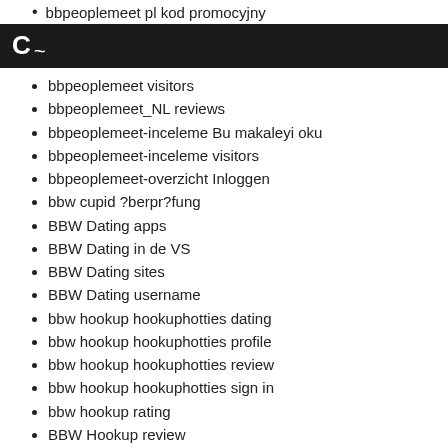bbpeoplemeet pl kod promocyjny
[Figure (logo): Dark navigation bar with a white logo icon resembling 'C~']
bbpeoplemeet visitors
bbpeoplemeet_NL reviews
bbpeoplemeet-inceleme Bu makaleyi oku
bbpeoplemeet-inceleme visitors
bbpeoplemeet-overzicht Inloggen
bbw cupid ?berpr?fung
BBW Dating apps
BBW Dating in de VS
BBW Dating sites
BBW Dating username
bbw hookup hookuphotties dating
bbw hookup hookuphotties profile
bbw hookup hookuphotties review
bbw hookup hookuphotties sign in
bbw hookup rating
BBW Hookup review
BBW Hookup reviews
bbw hookup site services
bbw reviews
bbw-chat-rooms login
bbwcupid cs review
bbwcupid cs reviews